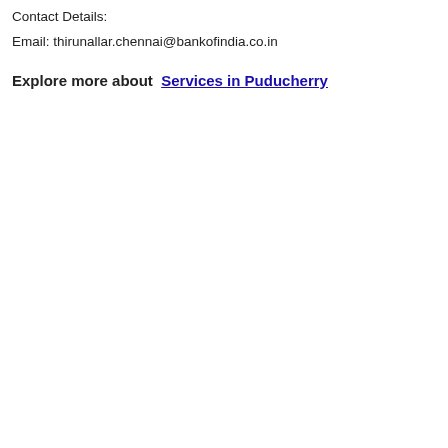Contact Details:
Email: thirunallar.chennai@bankofindia.co.in
Explore more about  Services in Puducherry